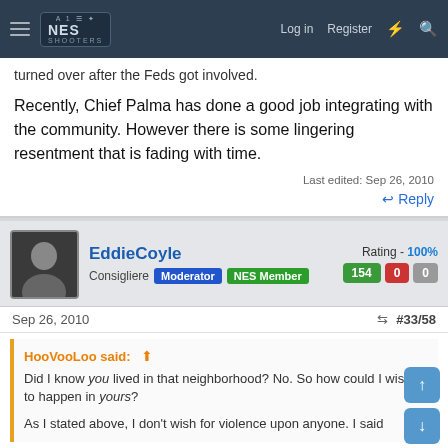NES Shooters — Log in  Register
turned over after the Feds got involved.
Recently, Chief Palma has done a good job integrating with the community. However there is some lingering resentment that is fading with time.
Last edited: Sep 26, 2010
↩ Reply
EddieCoyle  Consigliere  Moderator  NES Member   Rating - 100%   154  0  0
Sep 26, 2010   #33/58
HooVooLoo said: ↑
Did I know you lived in that neighborhood? No. So how could I wish it to happen in yours?

As I stated above, I don't wish for violence upon anyone. I said